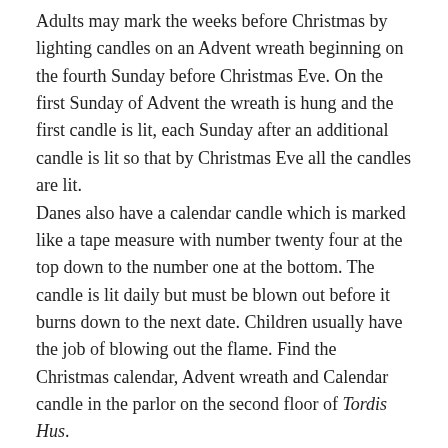Adults may mark the weeks before Christmas by lighting candles on an Advent wreath beginning on the fourth Sunday before Christmas Eve. On the first Sunday of Advent the wreath is hung and the first candle is lit, each Sunday after an additional candle is lit so that by Christmas Eve all the candles are lit.
Danes also have a calendar candle which is marked like a tape measure with number twenty four at the top down to the number one at the bottom. The candle is lit daily but must be blown out before it burns down to the next date. Children usually have the job of blowing out the flame. Find the Christmas calendar, Advent wreath and Calendar candle in the parlor on the second floor of Tordis Hus.
The Christmas tree in Tordis Hus is decorated in 20th century style with a gold star on top, (never an angel), candles, festoons of national flags, cornets with fruit, cookies and candy, small toy musical instruments and white fairy hair. One special Danish Christmas ornament is the Christmas heart. The heart is made